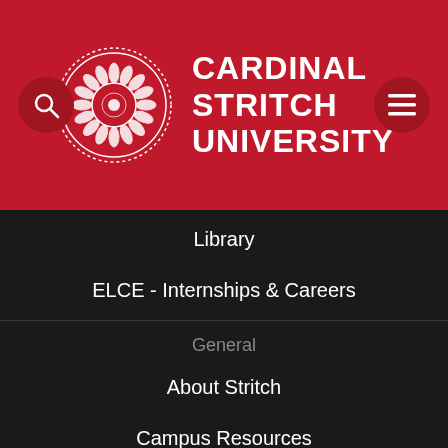[Figure (logo): Cardinal Stritch University header with logo seal and university name on red background, with search and menu icons]
Library
ELCE - Internships & Careers
General
About Stritch
Campus Resources
Franciscan Values
Kellner Family Literacy Center
Veteran Services
Work at Stritch